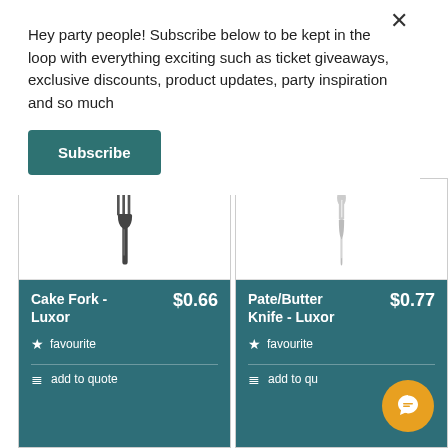Hey party people! Subscribe below to be kept in the loop with everything exciting such as ticket giveaways, exclusive discounts, product updates, party inspiration and so much
Subscribe
[Figure (photo): Image of a cake fork (Luxor style), silver/dark metallic, vertical orientation]
Cake Fork - Luxor  $0.66
★ favourite
≡ add to quote
[Figure (photo): Image of a pate/butter knife (Luxor style), silver/light grey, vertical orientation]
Pate/Butter Knife - Luxor  $0.77
★ favourite
≡ add to qu...